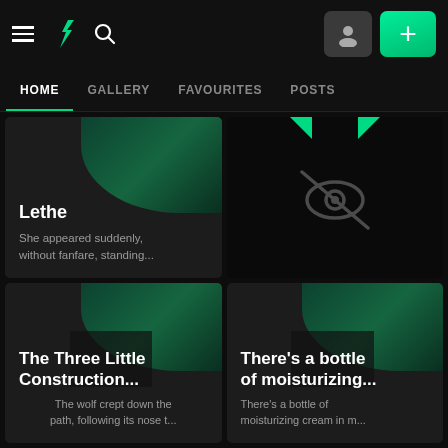[Figure (screenshot): DeviantArt website navigation bar with hamburger menu, DA logo (green lightning bolt), search icon, avatar button, and green plus button]
HOME   GALLERY   FAVOURITES   POSTS
[Figure (screenshot): Card: Lethe - She appeared suddenly, without fanfare, standing...]
[Figure (screenshot): Hidden/mature content card with eye-slash icon]
[Figure (screenshot): Card: The Three Little Construction... - The wolf crept down the path, following its nose t...]
[Figure (screenshot): Card: There's a bottle of moisturizing... - There's a bottle of moisturizing cream in m...]